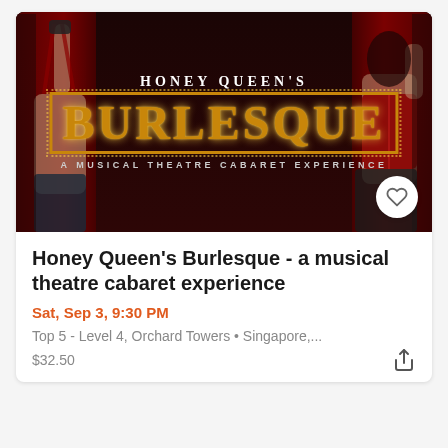[Figure (photo): Promotional banner for Honey Queen's Burlesque - A Musical Theatre Cabaret Experience. Dark background with red curtains, two performers on sides, large illuminated BURLESQUE text in the center.]
Honey Queen's Burlesque - a musical theatre cabaret experience
Sat, Sep 3, 9:30 PM
Top 5 - Level 4, Orchard Towers • Singapore,...
$32.50